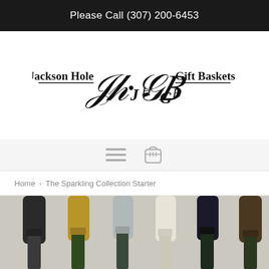Please Call (307) 200-6453
[Figure (logo): Jackson Hole Gift Baskets logo with ornate JH·GB monogram in script, flanked by 'Jackson Hole' on the left and 'Gift Baskets' on the right in serif font with horizontal rules]
[Figure (other): Navigation icons: hamburger menu (three horizontal lines) and shopping basket icon]
Home › The Sparkling Collection Starter
[Figure (photo): Six champagne/sparkling wine bottle necks and tops lined up side by side, with black, gold, silver, white, dark green, and brown foil caps]